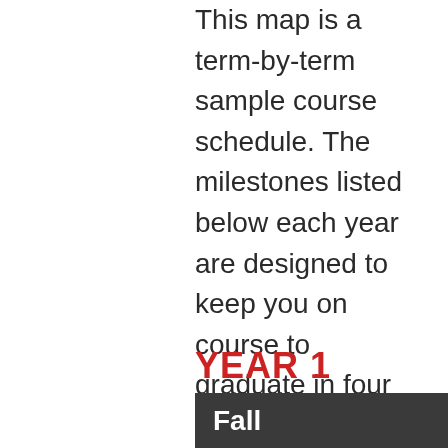This map is a term-by-term sample course schedule. The milestones listed below each year are designed to keep you on course to graduate in four years. A sample schedule is provided as a general guideline to help you build a schedule each term. Your courses must be selected with your advisor to satisfy all core curriculum and state, lab science, and multicultural requirements. Refer to the Undergraduate Catalog for the most current curriculum.
YEAR 1
| Fall | Hrs. |
| --- | --- |